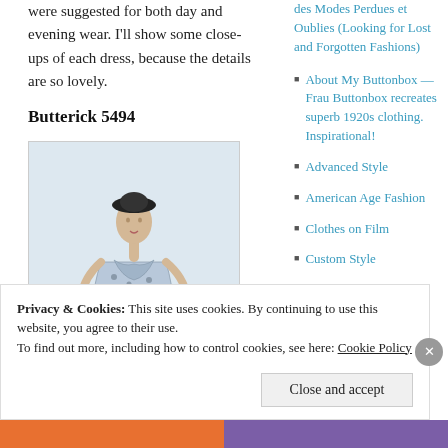were suggested for both day and evening wear. I'll show some close-ups of each dress, because the details are so lovely.
Butterick 5494
[Figure (illustration): Fashion illustration of a woman wearing a floral patterned long-sleeve dress with draped neckline, posing with hands on waist, wearing a dark hat. Vintage Butterick pattern style sketch in black and white/blue tones.]
des Modes Perdues et Oublies (Looking for Lost and Forgotten Fashions)
About My Buttonbox — Frau Buttonbox recreates superb 1920s clothing. Inspirational!
Advanced Style
American Age Fashion
Clothes on Film
Custom Style
Privacy & Cookies: This site uses cookies. By continuing to use this website, you agree to their use.
To find out more, including how to control cookies, see here: Cookie Policy
Close and accept